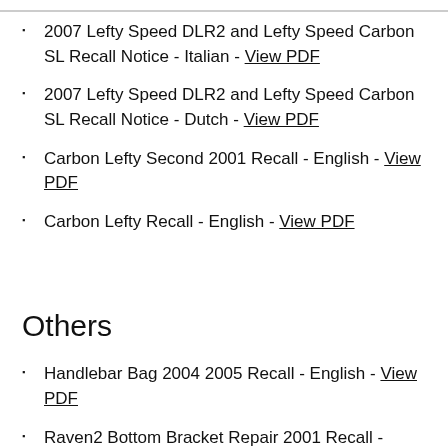2007 Lefty Speed DLR2 and Lefty Speed Carbon SL Recall Notice - Italian - View PDF
2007 Lefty Speed DLR2 and Lefty Speed Carbon SL Recall Notice - Dutch - View PDF
Carbon Lefty Second 2001 Recall - English - View PDF
Carbon Lefty Recall - English - View PDF
Others
Handlebar Bag 2004 2005 Recall - English - View PDF
Raven2 Bottom Bracket Repair 2001 Recall - English - View PDF